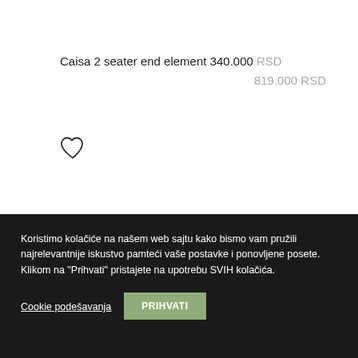Caisa 2 seater end element 340.000 RSD 819.000 RSD
[Figure (illustration): Heart/favorite icon (outline heart shape)]
Koristimo kolačiće na našem web sajtu kako bismo vam pružili najrelevantnije iskustvo pamteći vaše postavke i ponovljene posete. Klikom na "Prihvati" pristajete na upotrebu SVIH kolačića.
Cookie podešavanja
PRIHVATI